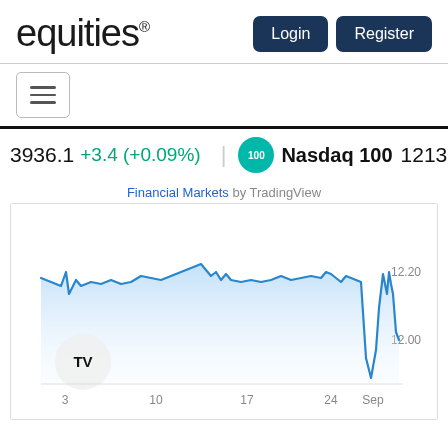equities®
Login   Register
[Figure (screenshot): Hamburger menu icon (three horizontal lines) inside a bordered box]
3936.1  +3.4 (+0.09%)  |  Nasdaq 100  12131.1  +6. TV
[Figure (area-chart): Area chart showing market data from early August to September, with a sharp dip near Sep, y-axis shows 12.00 and 12.20]